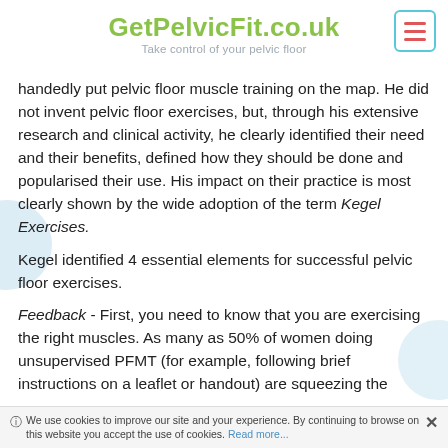GetPelvicFit.co.uk — Take control of your pelvic floor
handedly put pelvic floor muscle training on the map. He did not invent pelvic floor exercises, but, through his extensive research and clinical activity, he clearly identified their need and their benefits, defined how they should be done and popularised their use. His impact on their practice is most clearly shown by the wide adoption of the term Kegel Exercises.
Kegel identified 4 essential elements for successful pelvic floor exercises.
Feedback - First, you need to know that you are exercising the right muscles. As many as 50% of women doing unsupervised PFMT (for example, following brief instructions on a leaflet or handout) are squeezing the wrong muscles!
We use cookies to improve our site and your experience. By continuing to browse on this website you accept the use of cookies. Read more...